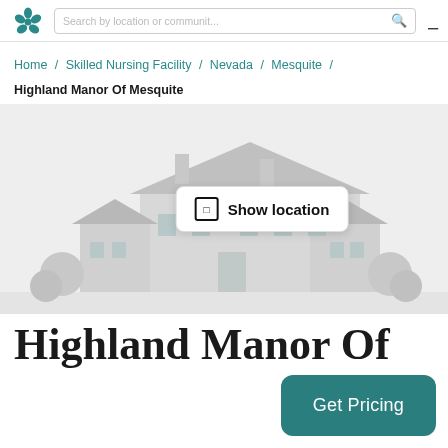Search by location or communit...
Home / Skilled Nursing Facility / Nevada / Mesquite / Highland Manor Of Mesquite
[Figure (illustration): A grey illustrated building/facility with a 'Show location' button overlaid in the center]
Highland Manor Of
Get Pricing